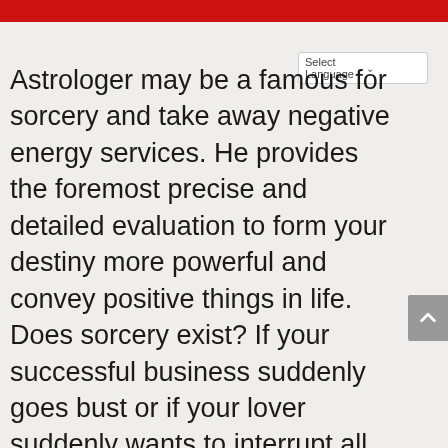Select Language
Astrologer may be a famous for sorcery and take away negative energy services. He provides the foremost precise and detailed evaluation to form your destiny more powerful and convey positive things in life. Does sorcery exist? If your successful business suddenly goes bust or if your lover suddenly wants to interrupt all contacts with you, dark influences of the sorcery are clearly at play. Increasingly citizenry is suffering from the seven deadly sins and resort to